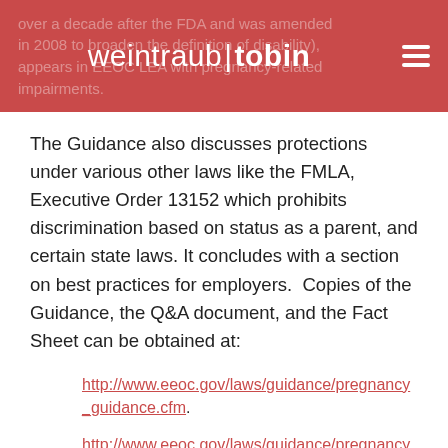weintraub tobin [hamburger menu icon] — background ghost text: over a decade after the FDA and was amended in 2008 to broaden the definition of disability), appears in EEOC LEA with pregnancy-related impairments.
The Guidance also discusses protections under various other laws like the FMLA, Executive Order 13152 which prohibits discrimination based on status as a parent, and certain state laws. It concludes with a section on best practices for employers.  Copies of the Guidance, the Q&A document, and the Fact Sheet can be obtained at:
http://www.eeoc.gov/laws/guidance/pregnancy_guidance.cfm.
http://www.eeoc.gov/laws/guidance/pregnancy_qa.cfm.